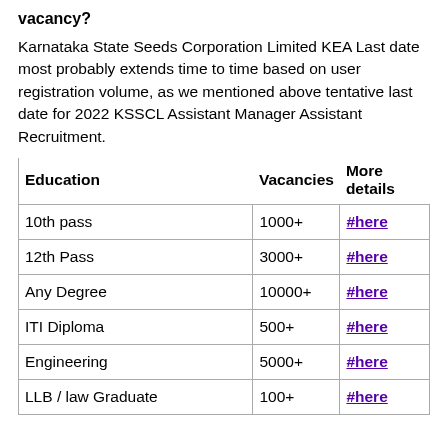vacancy?
Karnataka State Seeds Corporation Limited KEA Last date most probably extends time to time based on user registration volume, as we mentioned above tentative last date for 2022 KSSCL Assistant Manager Assistant Recruitment.
| Education | Vacancies | More details |
| --- | --- | --- |
| 10th pass | 1000+ | #here |
| 12th Pass | 3000+ | #here |
| Any Degree | 10000+ | #here |
| ITI Diploma | 500+ | #here |
| Engineering | 5000+ | #here |
| LLB / law Graduate | 100+ | #here |